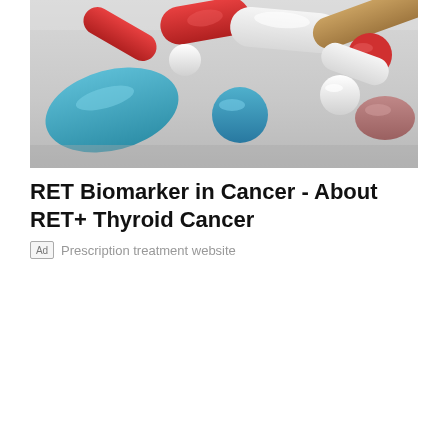[Figure (photo): Close-up photo of assorted colorful pills and capsules on a light gray surface. Pills include blue oval tablets, red and white capsules, white round tablets, a blue round tablet, tan/brown capsules, and a pinkish-mauve tablet.]
RET Biomarker in Cancer - About RET+ Thyroid Cancer
Ad  Prescription treatment website